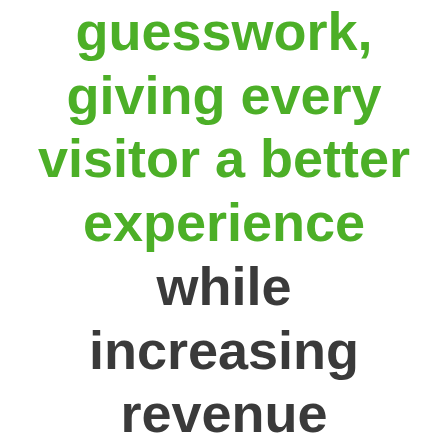guesswork, giving every visitor a better experience while increasing revenue automatically.